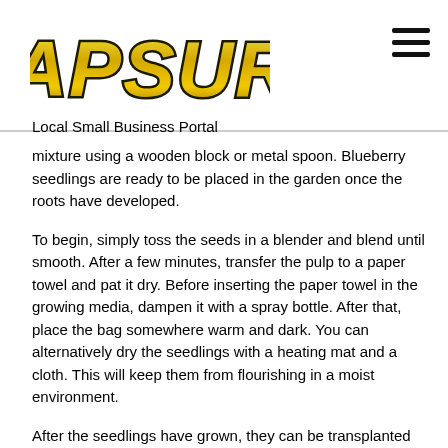[Figure (logo): CAPSURE logo in gold/yellow metallic style lettering with black outline]
Local Small Business Portal
mixture using a wooden block or metal spoon. Blueberry seedlings are ready to be placed in the garden once the roots have developed.
To begin, simply toss the seeds in a blender and blend until smooth. After a few minutes, transfer the pulp to a paper towel and pat it dry. Before inserting the paper towel in the growing media, dampen it with a spray bottle. After that, place the bag somewhere warm and dark. You can alternatively dry the seedlings with a heating mat and a cloth. This will keep them from flourishing in a moist environment.
After the seedlings have grown, they can be transplanted into the garden. Blueberry seedlings should be planted in a greenhouse. They should not be placed in direct sunlight. It can overheat and kill the clippings. Water the seedlings carefully as they grow. Mulch them heavily once they've been transplanted. Mulching the plant's roots will aid in moisture conservation.
If you need additional information about gardening, particularly